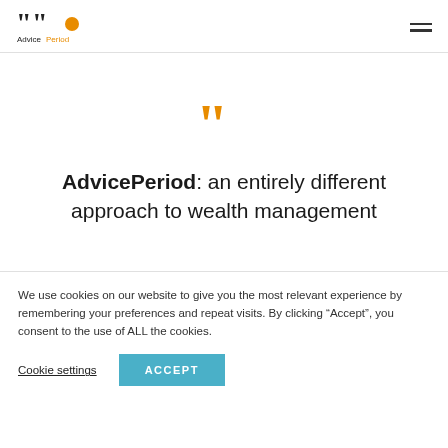[Figure (logo): AdvicePeriod logo with stylized quotation marks in dark and an orange circle, with 'AdvicePeriod' text below in black and orange]
AdvicePeriod: an entirely different approach to wealth management
We use cookies on our website to give you the most relevant experience by remembering your preferences and repeat visits. By clicking “Accept”, you consent to the use of ALL the cookies.
Cookie settings | ACCEPT